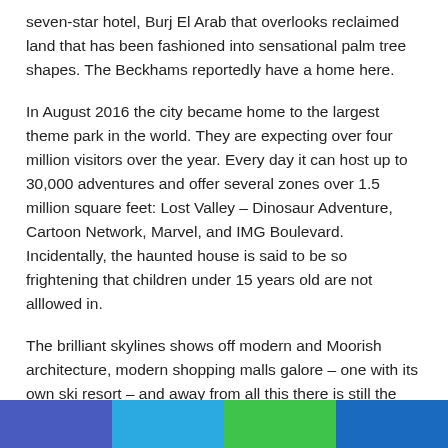seven-star hotel, Burj El Arab that overlooks reclaimed land that has been fashioned into sensational palm tree shapes. The Beckhams reportedly have a home here.
In August 2016 the city became home to the largest theme park in the world. They are expecting over four million visitors over the year. Every day it can host up to 30,000 adventures and offer several zones over 1.5 million square feet: Lost Valley – Dinosaur Adventure, Cartoon Network, Marvel, and IMG Boulevard. Incidentally, the haunted house is said to be so frightening that children under 15 years old are not alllowed in.
The brilliant skylines shows off modern and Moorish architecture, modern shopping malls galore – one with its own ski resort – and away from all this there is still the soug where